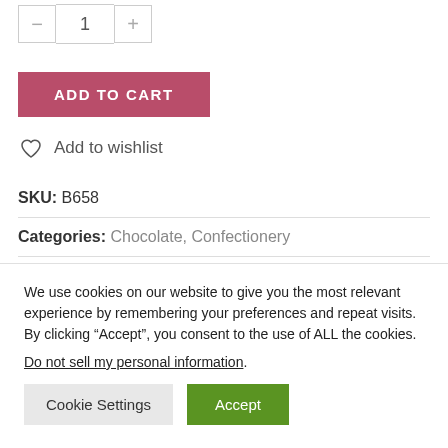[Figure (other): Quantity selector with minus button, value 1, and plus button]
ADD TO CART
Add to wishlist
SKU: B658
Categories: Chocolate, Confectionery
We use cookies on our website to give you the most relevant experience by remembering your preferences and repeat visits. By clicking “Accept”, you consent to the use of ALL the cookies.
Do not sell my personal information.
Cookie Settings
Accept